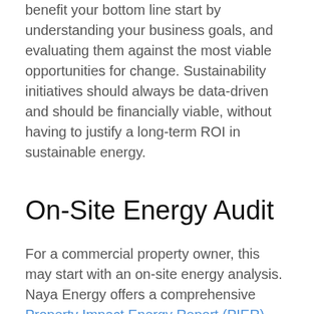benefit your bottom line start by understanding your business goals, and evaluating them against the most viable opportunities for change. Sustainability initiatives should always be data-driven and should be financially viable, without having to justify a long-term ROI in sustainable energy.
On-Site Energy Audit
For a commercial property owner, this may start with an on-site energy analysis. Naya Energy offers a comprehensive Property Impact Energy Report (PIER) that evaluates